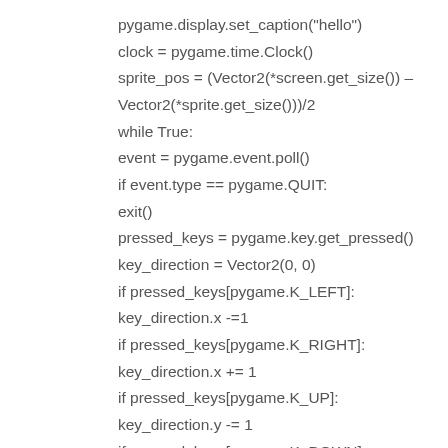pygame.display.set_caption("hello")
clock = pygame.time.Clock()
sprite_pos = (Vector2(*screen.get_size()) – Vector2(*sprite.get_size()))/2
while True:
event = pygame.event.poll()
if event.type == pygame.QUIT:
exit()
pressed_keys = pygame.key.get_pressed()
key_direction = Vector2(0, 0)
if pressed_keys[pygame.K_LEFT]:
key_direction.x -=1
if pressed_keys[pygame.K_RIGHT]:
key_direction.x += 1
if pressed_keys[pygame.K_UP]:
key_direction.y -= 1
if pressed_keys[pygame.K_DOWN]:
key_direction.y += 1
# ████████